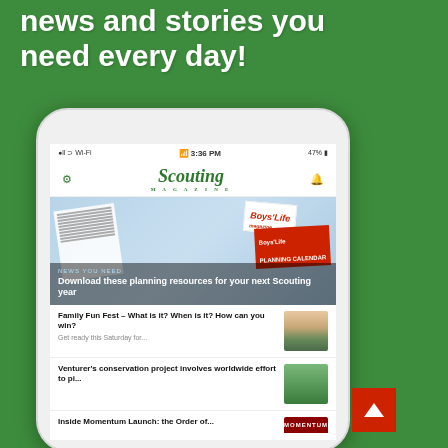news and stories you need every day!
[Figure (screenshot): Smartphone showing Scouting Magazine app with news feed including articles about Boys Life planning resources, Family Fun Fest, Venturer's conservation project, and Inside Momentum Launch. Phone displays status bar showing Wi-Fi, 3:36 PM, 47% battery.]